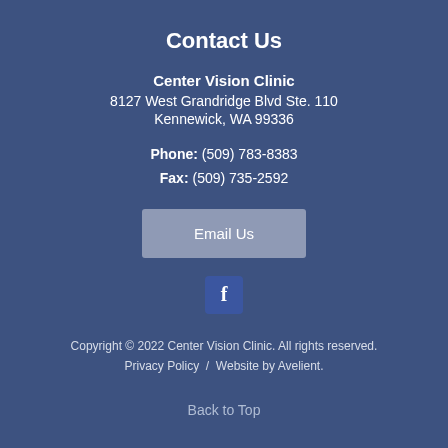Contact Us
Center Vision Clinic
8127 West Grandridge Blvd Ste. 110
Kennewick, WA 99336
Phone: (509) 783-8383
Fax: (509) 735-2592
[Figure (other): Email Us button (grey rounded rectangle with white text)]
[Figure (logo): Facebook logo icon - white letter f on dark blue square background]
Copyright © 2022 Center Vision Clinic. All rights reserved.
Privacy Policy  /  Website by Avelient.
Back to Top